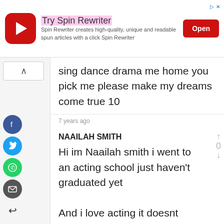[Figure (screenshot): Ad banner for Spin Rewriter app with red icon, title, description, and Open button]
sing dance drama me home you pick me please make my dreams come true 10
7 years ago
NAAILAH SMITH
Hi im Naailah smith i went to an acting school just haven't graduated yet
And i love acting it doesnt matter what role it is im pretty flexible about these things